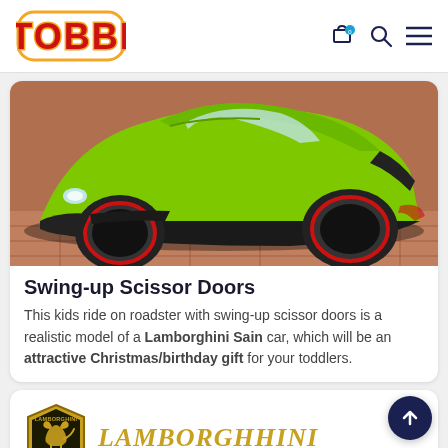TOBBI
[Figure (photo): Close-up photo of a bright green Lamborghini sports car toy/ride-on with black wheels with red trim, taken from a low angle on a brick surface.]
Swing-up Scissor Doors
This kids ride on roadster with swing-up scissor doors is a realistic model of a Lamborghini Sain car, which will be an attractive Christmas/birthday gift for your toddlers.
[Figure (logo): Lamborghini logo (gold shield with rearing bull) followed by italic gold text reading LAMBORGHHINI]
LAMBORGHHINI